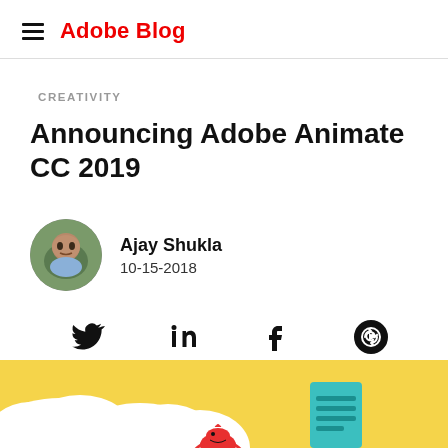Adobe Blog
CREATIVITY
Announcing Adobe Animate CC 2019
Ajay Shukla
10-15-2018
[Figure (illustration): Yellow sky background with white clouds, cartoon characters including a small red bird/character and a teal colored book/document with lines, partial view at bottom of page]